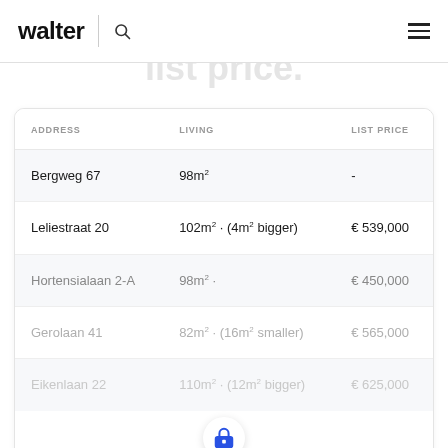walter
| ADDRESS | LIVING | LIST PRICE |
| --- | --- | --- |
| Bergweg 67 | 98m² | - |
| Leliestraat 20 | 102m² · (4m² bigger) | € 539,000 |
| Hortensialaan 2-A | 98m² · | € 450,000 |
| Gerolaan 41 | 82m² · (16m² smaller) | € 565,000 |
| Eikenlaan 22 | 110m² · (12m² bigger) | € 625,000 |